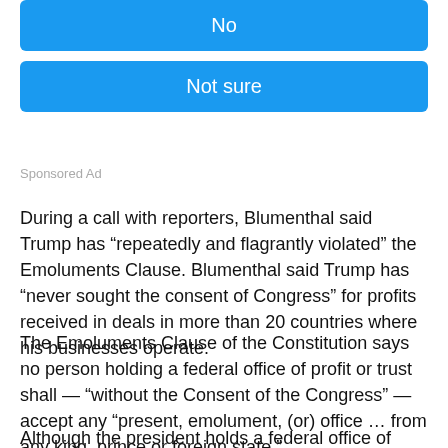[Figure (other): Blue 'No' button (partially visible at top)]
[Figure (other): Blue 'Not sure' button]
Sponsored Ad
During a call with reporters, Blumenthal said Trump has “repeatedly and flagrantly violated” the Emoluments Clause. Blumenthal said Trump has “never sought the consent of Congress” for profits received in deals in more than 20 countries where his businesses operate.
The Emoluments Clause of the Constitution says no person holding a federal office of profit or trust shall — “without the Consent of the Congress” — accept any “present, emolument, (or) office … from any king, prince or foreign state.”
Although the president holds a federal office of “trust,” the